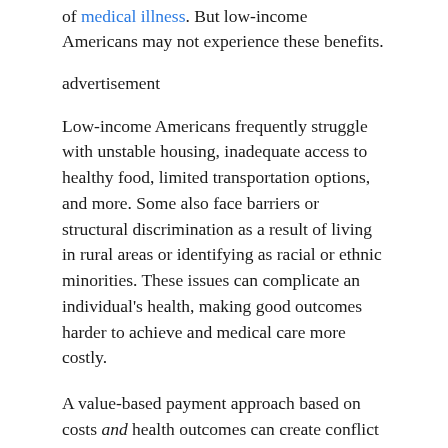of medical illness. But low-income Americans may not experience these benefits.
advertisement
Low-income Americans frequently struggle with unstable housing, inadequate access to healthy food, limited transportation options, and more. Some also face barriers or structural discrimination as a result of living in rural areas or identifying as racial or ethnic minorities. These issues can complicate an individual's health, making good outcomes harder to achieve and medical care more costly.
A value-based payment approach based on costs and health outcomes can create conflict for doctors and hospitals, pitting their intrinsic motivation to care for all patients equally against the fear that lower-income patients will hurt their financial bottom lines or, in the